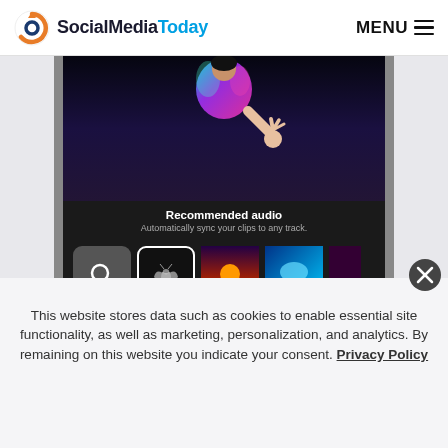SocialMediaToday | MENU
[Figure (screenshot): Instagram/TikTok-style app screenshot showing 'Recommended audio' screen with audio track tiles: Search, Isolation (Jack Smith), Afters (Megan), Colors (M. Rosen), Tr... and Skip / Next buttons.]
This website stores data such as cookies to enable essential site functionality, as well as marketing, personalization, and analytics. By remaining on this website you indicate your consent. Privacy Policy